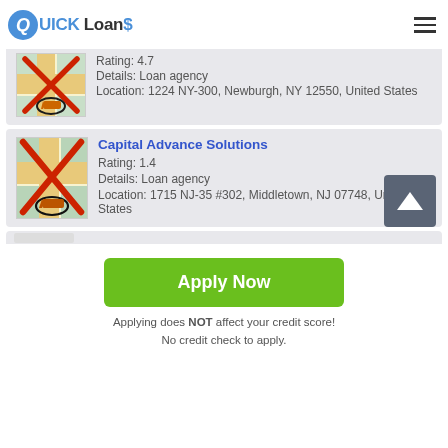QUICK Loans
Rating: 4.7
Details: Loan agency
Location: 1224 NY-300, Newburgh, NY 12550, United States
Capital Advance Solutions
Rating: 1.4
Details: Loan agency
Location: 1715 NJ-35 #302, Middletown, NJ 07748, United States
Apply Now
Applying does NOT affect your credit score!
No credit check to apply.